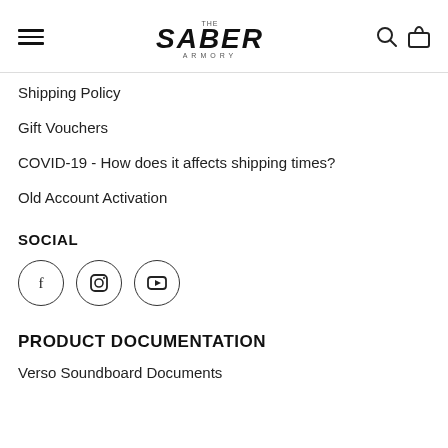The Saber Armory — navigation header with logo, hamburger menu, search and cart icons
Shipping Policy
Gift Vouchers
COVID-19 - How does it affects shipping times?
Old Account Activation
SOCIAL
[Figure (infographic): Social media icons in circles: Facebook (f), Instagram (camera), YouTube (play button)]
PRODUCT DOCUMENTATION
Verso Soundboard Documents